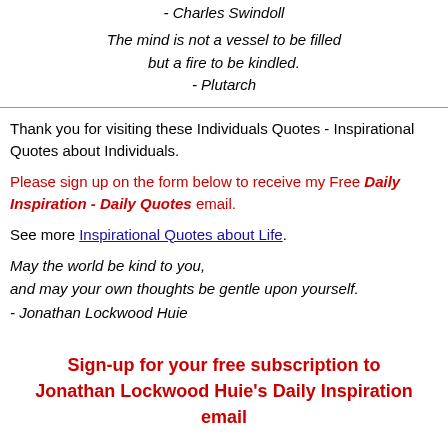- Charles Swindoll
The mind is not a vessel to be filled but a fire to be kindled. - Plutarch
Thank you for visiting these Individuals Quotes - Inspirational Quotes about Individuals.
Please sign up on the form below to receive my Free Daily Inspiration - Daily Quotes email.
See more Inspirational Quotes about Life.
May the world be kind to you, and may your own thoughts be gentle upon yourself. - Jonathan Lockwood Huie
Sign-up for your free subscription to Jonathan Lockwood Huie's Daily Inspiration email